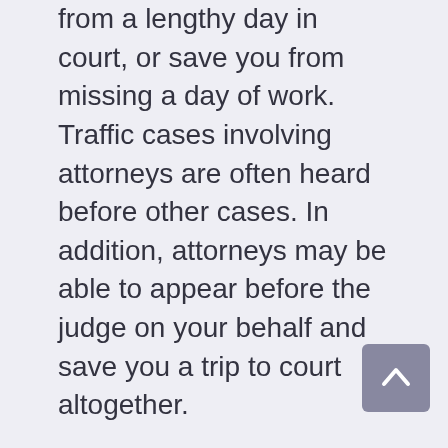from a lengthy day in court, or save you from missing a day of work. Traffic cases involving attorneys are often heard before other cases. In addition, attorneys may be able to appear before the judge on your behalf and save you a trip to court altogether.
Lawyers will also be helpful in keeping your driving record as clean as possible. Depending on the violation, traffic citations can lead to multiple points being added to your driving record. The more points you have, the closer you are to having your license suspended. These points can also increase your car insurance rates. An attorney can work to reduce the charge, and, in turn, reduce the number of points on your record.